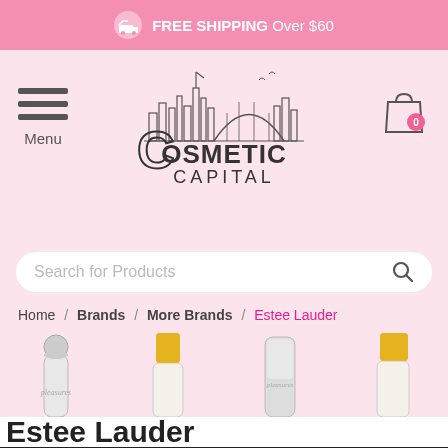FREE SHIPPING Over $60
[Figure (logo): Cosmetic Capital logo with cityscape illustration and shopping bag icon with cart count 0]
Search for Products
Home / Brands / More Brands / Estee Lauder
[Figure (photo): Four Estee Lauder perfume bottles partially visible]
Estee Lauder
HOME  CHECKOUT  CART 0  CONTACT